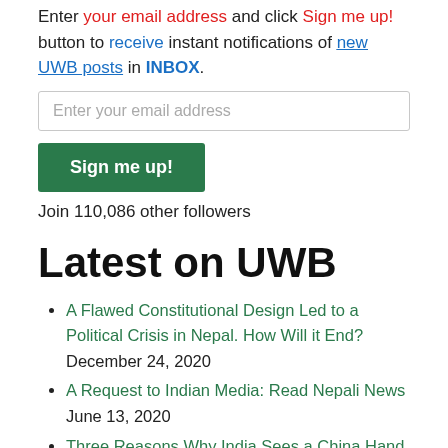Enter your email address and click Sign me up! button to receive instant notifications of new UWB posts in INBOX.
Enter your email address
Sign me up!
Join 110,086 other followers
Latest on UWB
A Flawed Constitutional Design Led to a Political Crisis in Nepal. How Will it End? December 24, 2020
A Request to Indian Media: Read Nepali News June 13, 2020
Three Reasons Why India Sees a China Hand in Nepal's New Map June 2, 2020
A Brief History of Lipulek Deals: India and China